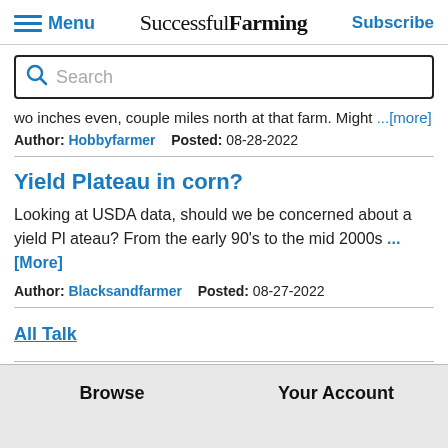Menu | Successful Farming | Subscribe
Search
wo inches even, couple miles north at that farm. Might ...[more]
Author: Hobbyfarmer   Posted: 08-28-2022
Yield Plateau in corn?
Looking at USDA data, should we be concerned about a yield Plateau? From the early 90's to the mid 2000s ...[More]
Author: Blacksandfarmer   Posted: 08-27-2022
All Talk
Browse   Your Account